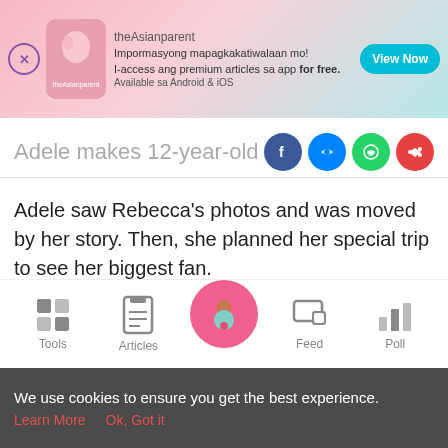[Figure (screenshot): theAsianparent app advertisement banner with logo, tagline in Filipino, and View Now button]
Adele makes 12-year-old terminally il…
Adele saw Rebecca's photos and was moved by her story. Then, she planned her special trip to see her biggest fan.
Tracy was getting a haircut when she found out that Adele herself would be granting Rebecca's wish.
[Figure (screenshot): Mobile app bottom navigation bar with Tools, Articles, Home (pregnant woman icon), Feed, Poll]
We use cookies to ensure you get the best experience. Learn More  Ok, Got it